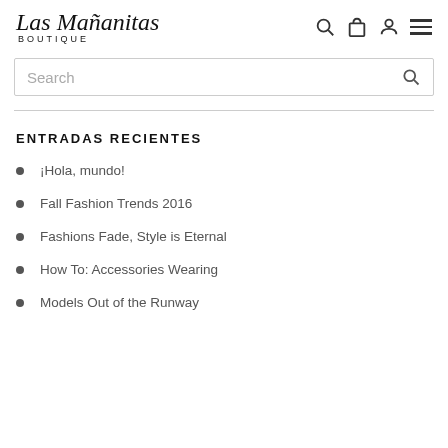Las Mañanitas Boutique
Search
ENTRADAS RECIENTES
¡Hola, mundo!
Fall Fashion Trends 2016
Fashions Fade, Style is Eternal
How To: Accessories Wearing
Models Out of the Runway